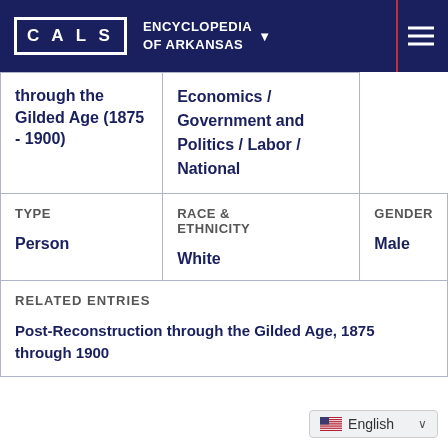CALS ENCYCLOPEDIA OF ARKANSAS
| through the Gilded Age (1875 - 1900) | Economics / Government and Politics / Labor / National |
| TYPE
Person | RACE & ETHNICITY
White | GENDER
Male |
| RELATED ENTRIES
Post-Reconstruction through the Gilded Age, 1875 through 1900 |  |  |
English